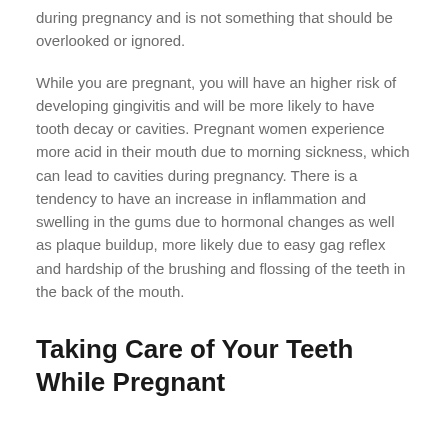during pregnancy and is not something that should be overlooked or ignored.
While you are pregnant, you will have an higher risk of developing gingivitis and will be more likely to have tooth decay or cavities. Pregnant women experience more acid in their mouth due to morning sickness, which can lead to cavities during pregnancy. There is a tendency to have an increase in inflammation and swelling in the gums due to hormonal changes as well as plaque buildup, more likely due to easy gag reflex and hardship of the brushing and flossing of the teeth in the back of the mouth.
Taking Care of Your Teeth While Pregnant